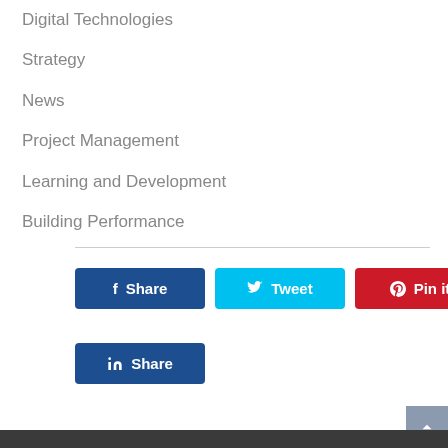Digital Technologies
Strategy
News
Project Management
Learning and Development
Building Performance
[Figure (infographic): Social sharing buttons: Facebook Share, Twitter Tweet, Pinterest Pin it, LinkedIn Share]